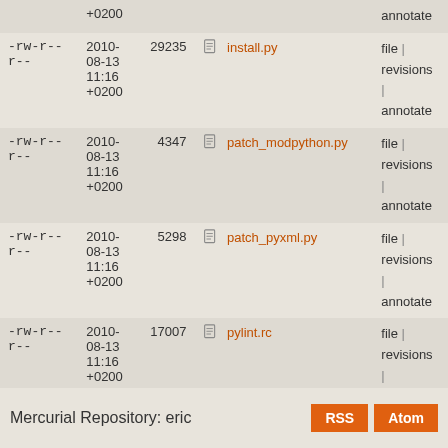| perms | date | size | file | actions |
| --- | --- | --- | --- | --- |
| -rw-r--r-- | 2010-08-13 11:16 +0200 | +0200 | annotate |  |
| -rw-r--r-- | 2010-08-13 11:16 +0200 | 29235 | install.py | file | revisions | annotate |
| -rw-r--r-- | 2010-08-13 11:16 +0200 | 4347 | patch_modpython.py | file | revisions | annotate |
| -rw-r--r-- | 2010-08-13 11:16 +0200 | 5298 | patch_pyxml.py | file | revisions | annotate |
| -rw-r--r-- | 2010-08-13 11:16 +0200 | 17007 | pylint.rc | file | revisions | annotate |
| -rw-r--r-- | 2010-08-13 11:16 +0200 | 4064 | uninstall.py | file | revisions | annotate |
Mercurial Repository: eric